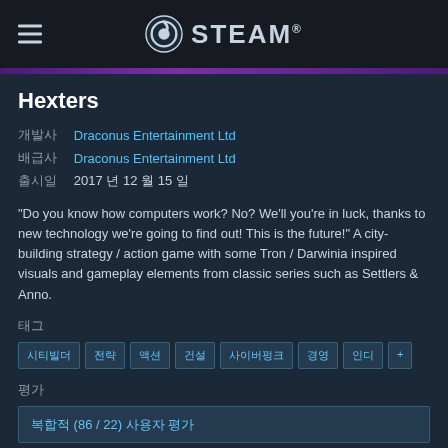STEAM
Hexters
개발사  Draconus Entertainment Ltd
배급사  Draconus Entertainment Ltd
출시일  2017 년 12 월 15 일
"Do you know how computers work? No? We'll you're in luck, thanks to new technology we're going to find out! This is the future!" A city-building strategy / action game with some Tron / Darwinia inspired visuals and gameplay elements from classic series such as Settlers & Anno.
태그
시티빌더  전략  액션  건설  사이버펑크  경영  인디  +
평가
복합적 (86 / 22) 사용자 평가